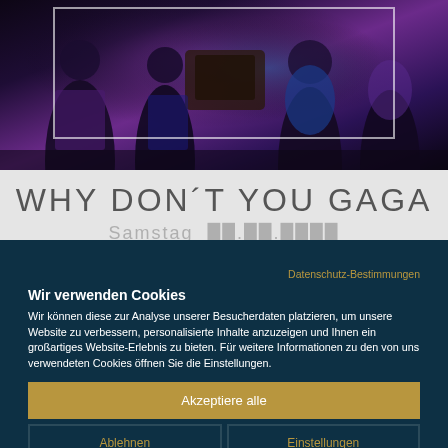[Figure (photo): Dark nightclub photo showing people dancing, with a white rectangular overlay/frame in the center. Purple and dark blue lighting dominates the scene.]
WHY DON´T YOU GAGA
Datenschutz-Bestimmungen
Wir verwenden Cookies
Wir können diese zur Analyse unserer Besucherdaten platzieren, um unsere Website zu verbessern, personalisierte Inhalte anzuzeigen und Ihnen ein großartiges Website-Erlebnis zu bieten. Für weitere Informationen zu den von uns verwendeten Cookies öffnen Sie die Einstellungen.
Akzeptiere alle
Ablehnen
Einstellungen